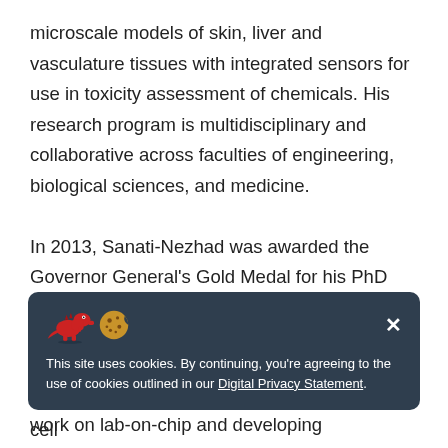microscale models of skin, liver and vasculature tissues with integrated sensors for use in toxicity assessment of chemicals. His research program is multidisciplinary and collaborative across faculties of engineering, biological sciences, and medicine.

In 2013, Sanati-Nezhad was awarded the Governor General's Gold Medal for his PhD thesis at Concordia University, focusing on cell biomechanics. During his postdoctoral training at McGill University and Harvard Medical School, he established new technologies for cell
[Figure (screenshot): Cookie consent banner with dark blue-grey background, showing a red dinosaur icon and cookie icon, an X close button, and text: 'This site uses cookies. By continuing, you're agreeing to the use of cookies outlined in our Digital Privacy Statement.']
work on lab-on-chip and developing bioengineering